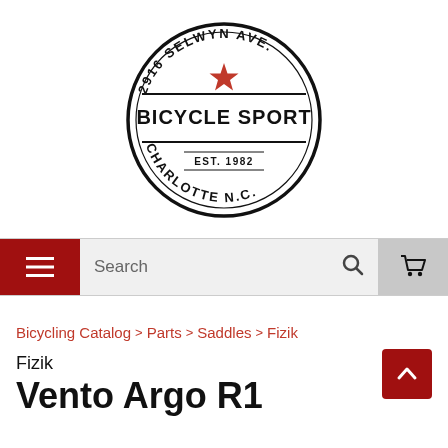[Figure (logo): Bicycle Sport shop logo: circular badge with text '2916 SELWYN AVE.' at top, red star in center top, 'BICYCLE SPORT' in bold across middle band, 'EST. 1982' below, 'CHARLOTTE N.C.' at bottom]
[Figure (screenshot): Navigation bar with red hamburger menu button on left, search field in center with magnifying glass icon, and grey shopping cart button on right]
Bicycling Catalog > Parts > Saddles > Fizik
Fizik
Vento Argo R1